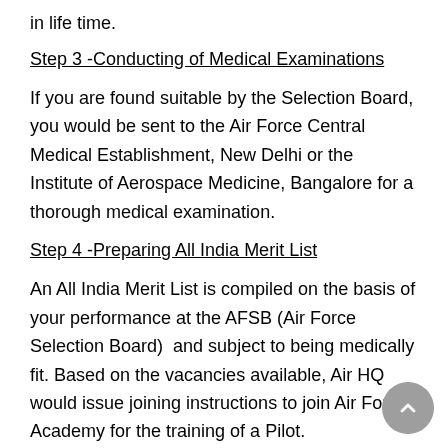in life time.
Step 3 -Conducting of Medical Examinations
If you are found suitable by the Selection Board, you would be sent to the Air Force Central Medical Establishment, New Delhi or the Institute of Aerospace Medicine, Bangalore for a thorough medical examination.
Step 4 -Preparing All India Merit List
An All India Merit List is compiled on the basis of your performance at the AFSB (Air Force Selection Board)  and subject to being medically fit. Based on the vacancies available, Air HQ would issue joining instructions to join Air Force Academy for the training of a Pilot.